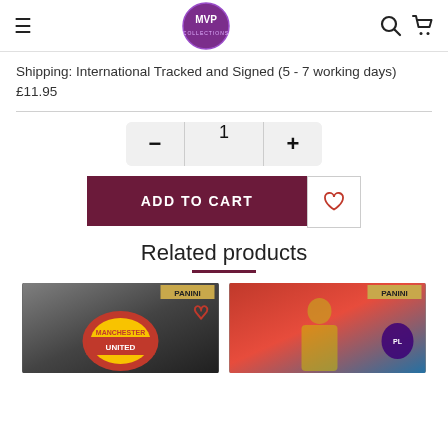MVP Collections - navigation header with logo, menu, search, cart icons
Shipping: International Tracked and Signed (5 - 7 working days) £11.95
[Figure (screenshot): Quantity selector with minus button, value 1, plus button]
[Figure (screenshot): ADD TO CART button (dark purple) and wishlist heart icon button]
Related products
[Figure (photo): Panini Manchester United badge sticker card thumbnail]
[Figure (photo): Panini Premier League goalkeeper (de Gea) sticker card thumbnail]